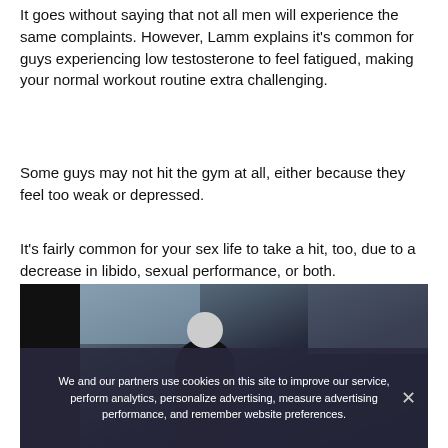It goes without saying that not all men will experience the same complaints. However, Lamm explains it's common for guys experiencing low testosterone to feel fatigued, making your normal workout routine extra challenging.
Some guys may not hit the gym at all, either because they feel too weak or depressed.
It's fairly common for your sex life to take a hit, too, due to a decrease in libido, sexual performance, or both.
[Figure (photo): A dark gym or fitness setting with a silhouetted figure and blurred background, showing an older person with white/grey hair.]
We and our partners use cookies on this site to improve our service, perform analytics, personalize advertising, measure advertising performance, and remember website preferences.